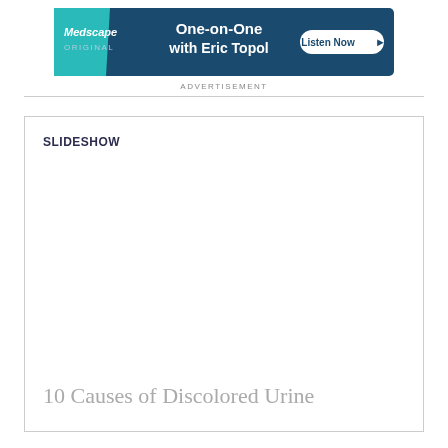[Figure (other): Medscape advertisement banner: dark navy blue background with teal diagonal shape on left. Text reads 'Medscape ORIGINAL' on left, 'One-on-One with Eric Topol' in center, and 'Listen Now' button on right.]
ADVERTISEMENT
SLIDESHOW
10 Causes of Discolored Urine